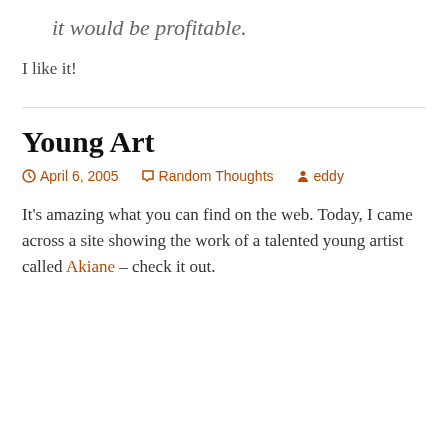it would be profitable.
I like it!
Young Art
April 6, 2005   Random Thoughts   eddy
It’s amazing what you can find on the web. Today, I came across a site showing the work of a talented young artist called Akiane – check it out.